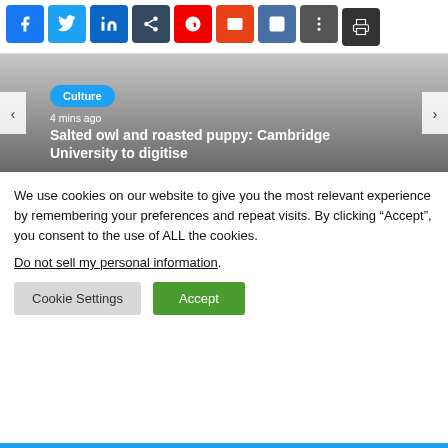[Figure (screenshot): Social share buttons row: Facebook (blue), Twitter (light blue), LinkedIn (dark blue), other share (navy), Pinterest (red), email/share (orange), another share (slate), print (dark). A print button below.]
[Figure (screenshot): Article carousel teaser with gradient gray background. Culture badge (blue pill), '4 mins ago' timestamp, article title 'Salted owl and roasted puppy: Cambridge University to digitise'. Left and right navigation arrows.]
We use cookies on our website to give you the most relevant experience by remembering your preferences and repeat visits. By clicking “Accept”, you consent to the use of ALL the cookies.
Do not sell my personal information.
Cookie Settings
Accept